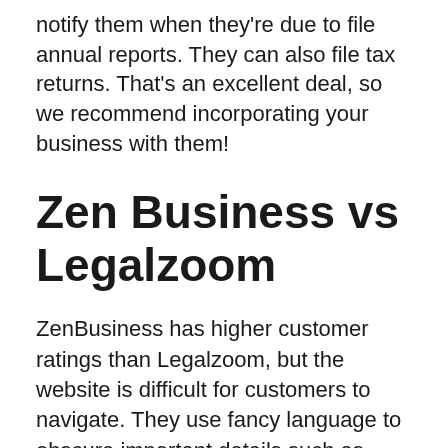notify them when they're due to file annual reports. They can also file tax returns. That's an excellent deal, so we recommend incorporating your business with them!
Zen Business vs Legalzoom
ZenBusiness has higher customer ratings than Legalzoom, but the website is difficult for customers to navigate. They use fancy language to obscure important details such as pricing and options. ZenBusiness's website is more straightforward, but its customer support may lack some personal touches. It also does not provide a clear timeline for when companies use ZenBusiness to